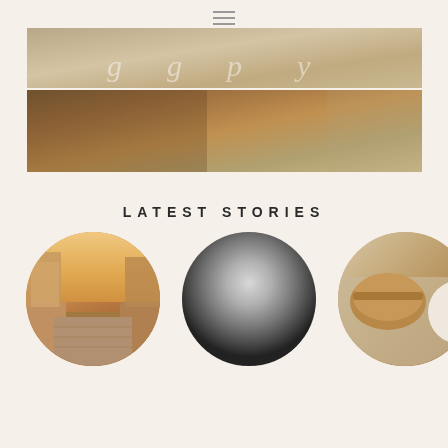[Figure (screenshot): Navigation hamburger menu icon with three horizontal lines]
[Figure (photo): Partial banner image with floral/decorative background in warm beige tones with cursive script text (partially visible)]
[Figure (photo): Banner image with food/instant pot related photography in warm brown tones, with cursive white text reading 'instant pot']
LATEST STORIES
[Figure (photo): Circular cropped photo of a city street at sunset/dusk with buildings lining both sides]
[Figure (photo): Circular photo with gray gradient, appears to be a dark/empty or loading image]
[Figure (photo): Circular cropped photo of food/pastry on a textured surface, partially overlapped by a white circle on the right edge]